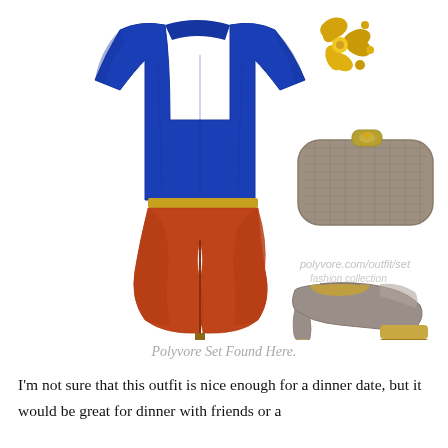[Figure (photo): A fashion collage showing a blue long-sleeve top, a rust/burnt-orange tulip skirt on a mannequin stand, gold seashell/floral cluster earrings or brooch, a gray snakeskin-textured clutch bag with gold clasp, and gray platform high-heel pumps. The items are arranged on a white background in a Polyvore-style flat-lay outfit set.]
Polyvore Set Found Here.
I'm not sure that this outfit is nice enough for a dinner date, but it would be great for dinner with friends or a